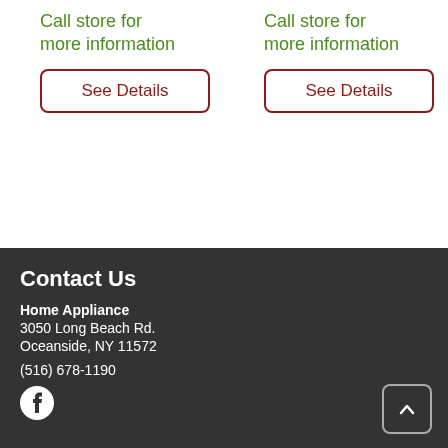Call store for more information
See Details
Call store for more information
See Details
Contact Us
Home Appliance
3050 Long Beach Rd.
Oceanside, NY 11572
(516) 678-1190
[Figure (logo): Facebook circular logo icon]